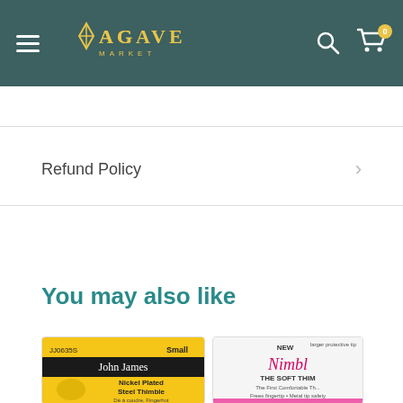[Figure (screenshot): Agave Market navigation bar with hamburger menu, logo, search icon, and cart icon with badge showing 0]
Refund Policy
[Figure (screenshot): John James Nickel Plated Steel Thimble product card - JJ0635S Small, yellow packaging]
[Figure (screenshot): Nimble soft thimble product card - partially visible pink packaging]
You may also like